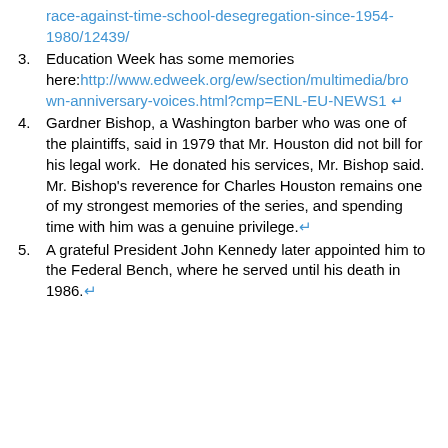race-against-time-school-desegregation-since-1954-1980/12439/
3.  Education Week has some memories here: http://www.edweek.org/ew/section/multimedia/brown-anniversary-voices.html?cmp=ENL-EU-NEWS1 ↵
4. Gardner Bishop, a Washington barber who was one of the plaintiffs, said in 1979 that Mr. Houston did not bill for his legal work.  He donated his services, Mr. Bishop said. Mr. Bishop's reverence for Charles Houston remains one of my strongest memories of the series, and spending time with him was a genuine privilege. ↵
5. A grateful President John Kennedy later appointed him to the Federal Bench, where he served until his death in 1986. ↵